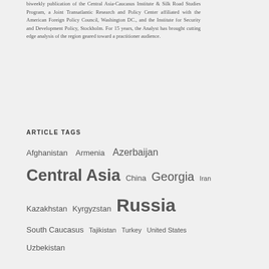biweekly publication of the Central Asia-Caucasus Institute & Silk Road Studies Program, a Joint Transatlantic Research and Policy Center affiliated with the American Foreign Policy Council, Washington DC., and the Institute for Security and Development Policy, Stockholm. For 15 years, the Analyst has brought cutting edge analysis of the region geared toward a practitioner audience.
ARTICLE TAGS
Afghanistan
Armenia
Azerbaijan
Central Asia
China
Georgia
Iran
Kazakhstan
Kyrgyzstan
Russia
South Caucasus
Tajikistan
Turkey
United States
Uzbekistan